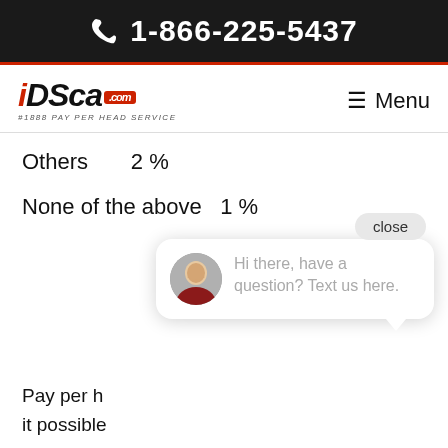1-866-225-5437
[Figure (logo): iDSca.com #1888 Pay Per Head Service logo with menu button]
Others   2 %
None of the above  1 %
[Figure (screenshot): Chat popup with avatar and message: Hi there, have a question? Text us here. With close button and blue chat bubble button.]
Pay per h... it possible... with their... bring in the players to wager on the favorite teams which are also what the betting companies wnt for more profits.